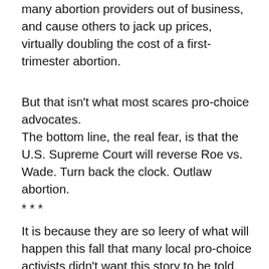many abortion providers out of business, and cause others to jack up prices, virtually doubling the cost of a first-trimester abortion.
But that isn't what most scares pro-choice advocates.
The bottom line, the real fear, is that the U.S. Supreme Court will reverse Roe vs. Wade. Turn back the clock. Outlaw abortion.
* * *
It is because they are so leery of what will happen this fall that many local pro-choice activists didn't want this story to be told. Not right now. It is because they have always felt vulnerable that they never spoke up against the Dadeland clinic, which they know to be a bad place.
“The hysteria is already bad enough and we don't want to